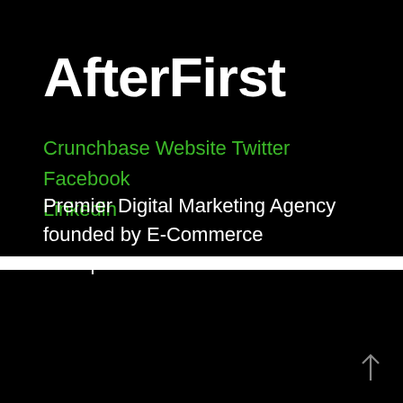AfterFirst
Crunchbase Website Twitter Facebook Linkedin
Premier Digital Marketing Agency founded by E-Commerce Entrepreneurs